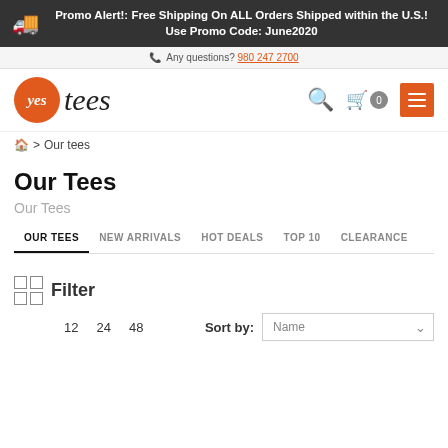Promo Alert!: Free Shipping On ALL Orders Shipped within the U.S.! Use Promo Code: June2020
Any questions? 980 247 2700
[Figure (logo): YesTees logo with orange circle and cursive tees text]
breadcrumb: home > Our tees
Our Tees
Our Tees
OUR TEES | NEW ARRIVALS | HOT DEALS | TOP 10 | CLEARANCE
Filter
12  24  48  Sort by: Name